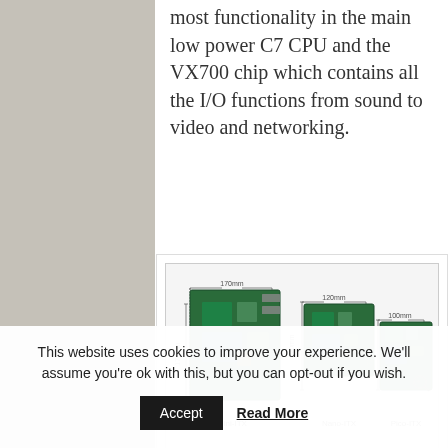most functionality in the main low power C7 CPU and the VX700 chip which contains all the I/O functions from sound to video and networking.
[Figure (photo): Three VIA mainboards shown side by side with dimensions labeled: Mini-ITX (170mm x 170mm), Nano-ITX (120mm x 120mm), and Pico-ITX (100mm x 72mm). Each board is shown with bracket arrows indicating dimensions.]
VIA Mainboards (Credit: VIA Technologies)
This website uses cookies to improve your experience. We'll assume you're ok with this, but you can opt-out if you wish.